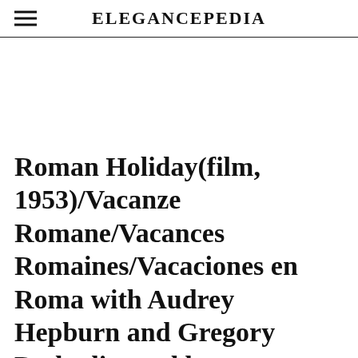ELEGANCEPEDIA
Roman Holiday(film, 1953)/Vacanze Romane/Vacances Romaines/Vacaciones en Roma with Audrey Hepburn and Gregory Peck, directed by